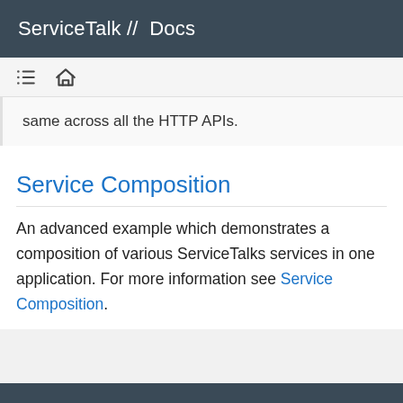ServiceTalk //  Docs
same across all the HTTP APIs.
Service Composition
An advanced example which demonstrates a composition of various ServiceTalks services in one application. For more information see Service Composition.